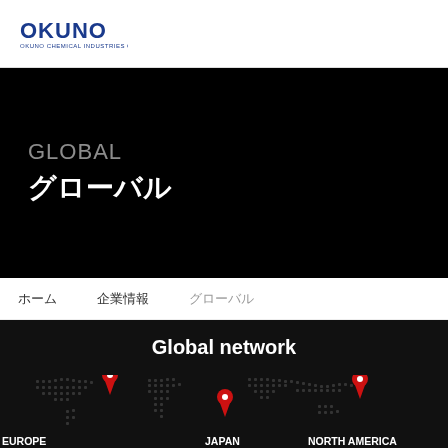OKUNO OKUNO CHEMICAL INDUSTRIES CO., LTD.
GLOBAL グローバル
ホーム　企業情報　グローバル
Global network
[Figure (map): World map on dark background with red location pins marking EUROPE, JAPAN, and NORTH AMERICA regions]